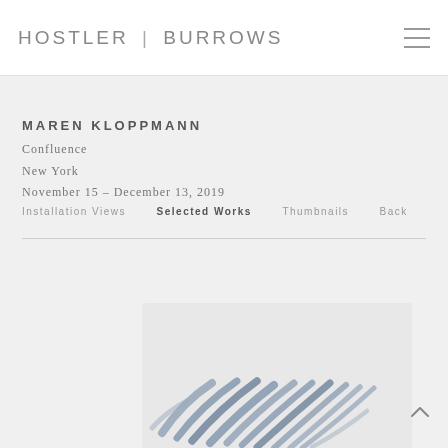HOSTLER | BURROWS
MAREN KLOPPMANN
Confluence
New York
November 15 – December 13, 2019
Installation Views   Selected Works   Thumbnails   Back
[Figure (photo): Partial view of an artwork featuring soft blue-grey leaf or feather-like brushstroke forms on a light background, visible at the bottom of the page.]